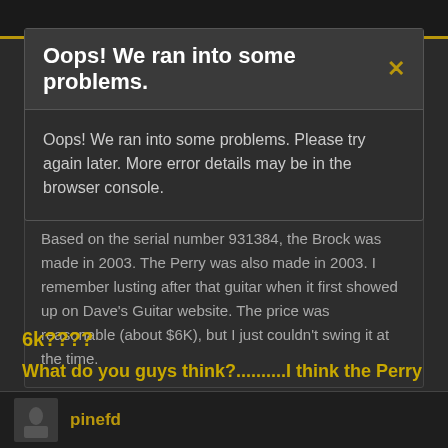Oops! We ran into some problems.
Oops! We ran into some problems. Please try again later. More error details may be in the browser console.
Danelectro said:
Based on the serial number 931384, the Brock was made in 2003. The Perry was also made in 2003. I remember lusting after that guitar when it first showed up on Dave's Guitar website. The price was reasonable (about $6K), but I just couldn't swing it at the time.
6k????
What do you guys think?..........I think the Perry Burst..............would go for about 3 1/2 times that today..........maybe a little more............................
pinefd